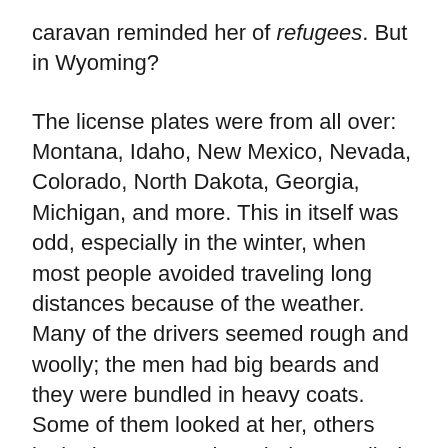caravan reminded her of refugees. But in Wyoming?
The license plates were from all over: Montana, Idaho, New Mexico, Nevada, Colorado, North Dakota, Georgia, Michigan, and more. This in itself was odd, especially in the winter, when most people avoided traveling long distances because of the weather. Many of the drivers seemed rough and woolly; the men had big beards and they were bundled in heavy coats. Some of them looked at her, others looked away. One bearded man rolled down his window while he passed and shouted something about “government schools.” He didn’t say it in a nice way, and she instinctively stepped back toward the building and the chain-link fence. There were more men than women in the vehicles, and Sheridan saw only a few children,